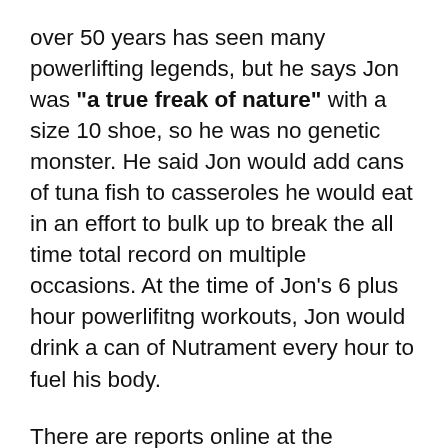over 50 years has seen many powerlifting legends, but he says Jon was “a true freak of nature” with a size 10 shoe, so he was no genetic monster. He said Jon would add cans of tuna fish to casseroles he would eat in an effort to bulk up to break the all time total record on multiple occasions. At the time of Jon’s 6 plus hour powerlifitng workouts, Jon would drink a can of Nutrament every hour to fuel his body.
There are reports online at the Ironmind Forum that Jon once did a dip with 500lbs attached to his body for a single rep. I have read reports from famous powerlifter Gus Resthwich that he saw Jon do behind the neck presses with 285lbs as well as smoking a universal forearm wrist roller at its highest